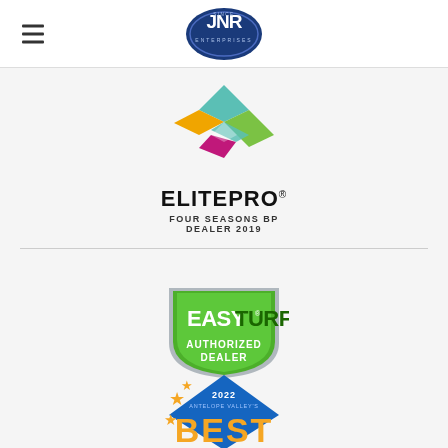[Figure (logo): JNR company logo in dark blue oval with white text]
[Figure (logo): ElitePro Four Seasons BP Dealer 2019 logo with colorful diamond shapes]
[Figure (logo): EasyTurf Authorized Dealer badge logo in green shield shape]
[Figure (logo): 2022 Antelope Valley's Best award badge with gold stars and blue diamond shape, partially visible]